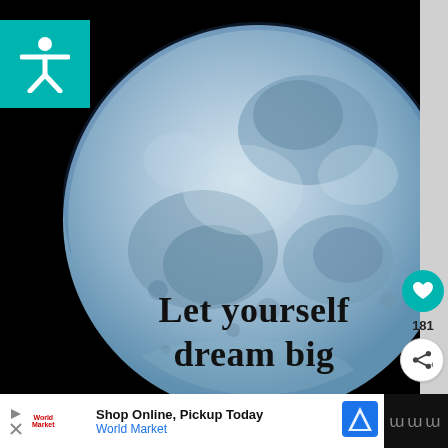[Figure (photo): Close-up photograph of the full moon against a black sky, with the text 'Let yourself dream big' overlaid in bold serif font on the lower portion of the moon image. A teal accessibility icon button is in the top-left. Like (heart) button, count 181, and share button on the right side.]
Let yourself dream big
181
Shop Online, Pickup Today
World Market